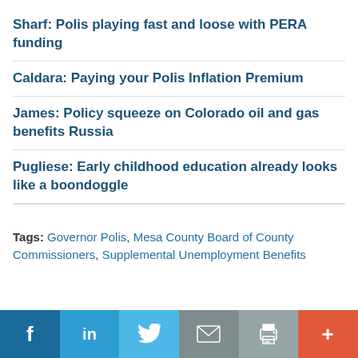Sharf: Polis playing fast and loose with PERA funding
Caldara: Paying your Polis Inflation Premium
James: Policy squeeze on Colorado oil and gas benefits Russia
Pugliese: Early childhood education already looks like a boondoggle
Tags: Governor Polis, Mesa County Board of County Commissioners, Supplemental Unemployment Benefits
[Figure (other): Social sharing bar with Facebook, LinkedIn, Twitter, Email, Print, and More buttons]